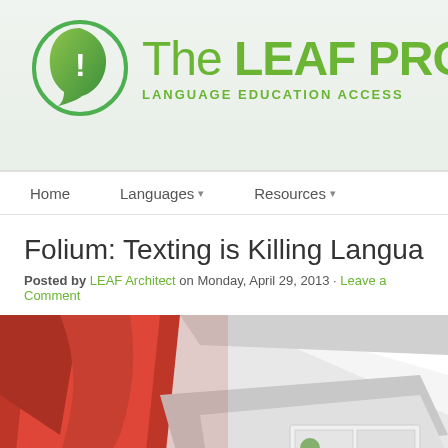[Figure (logo): The LEAF Project logo with green head silhouette icon containing an exclamation mark, and text 'The LEAF PRO...' with subtitle 'LANGUAGE EDUCATION ACCESS']
Home    Languages ▾    Resources ▾
Folium: Texting is Killing Language? via...
Posted by LEAF Architect on Monday, April 29, 2013 · Leave a Comment
[Figure (photo): Photo of someone lying on red fabric/bedding, reading or holding a phone, with a comic strip or newspaper visible and an LG phone]